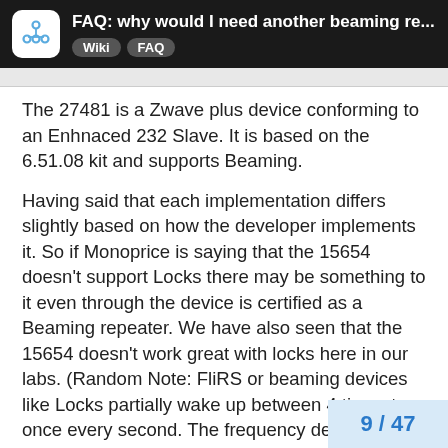FAQ: why would I need another beaming re... Wiki FAQ
The 27481 is a Zwave plus device conforming to an Enhnaced 232 Slave. It is based on the 6.51.08 kit and supports Beaming.
Having said that each implementation differs slightly based on how the developer implements it. So if Monoprice is saying that the 15654 doesn't support Locks there may be something to it even through the device is certified as a Beaming repeater. We have also seen that the 15654 doesn't work great with locks here in our labs. (Random Note: FliRS or beaming devices like Locks partially wake up between 4 times to once every second. The frequency depends on the lock developer. The beaming device needs to be able to match that frequency and hold / buffer messages until the lock is ready to receive them. ZigBee on the other hand doesnt have a FLIRS mode but a rather more complex ti... mechanism it which makes it more expens...
9 / 47